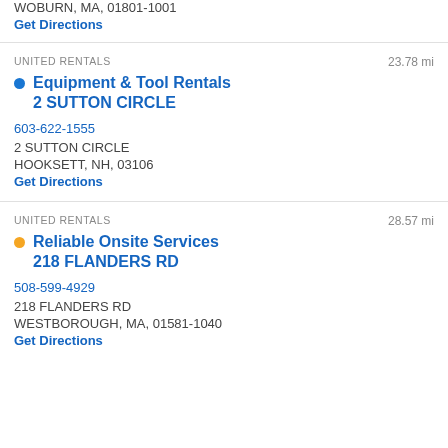WOBURN, MA, 01801-1001
Get Directions
UNITED RENTALS
23.78 mi
Equipment & Tool Rentals 2 SUTTON CIRCLE
603-622-1555
2 SUTTON CIRCLE
HOOKSETT, NH, 03106
Get Directions
UNITED RENTALS
28.57 mi
Reliable Onsite Services 218 FLANDERS RD
508-599-4929
218 FLANDERS RD
WESTBOROUGH, MA, 01581-1040
Get Directions